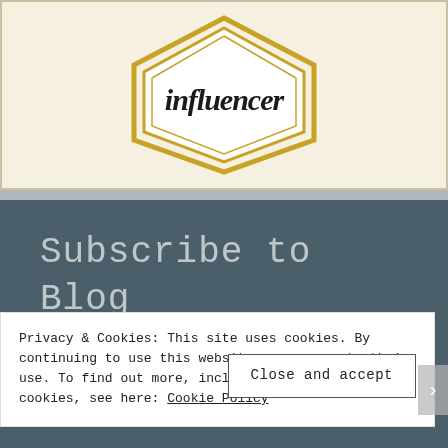[Figure (logo): Gold and black hexagonal/shield badge with cursive script text reading 'influencer']
Subscribe to Blog via Email
Privacy & Cookies: This site uses cookies. By continuing to use this website, you agree to their use. To find out more, including how to control cookies, see here: Cookie Policy
Close and accept